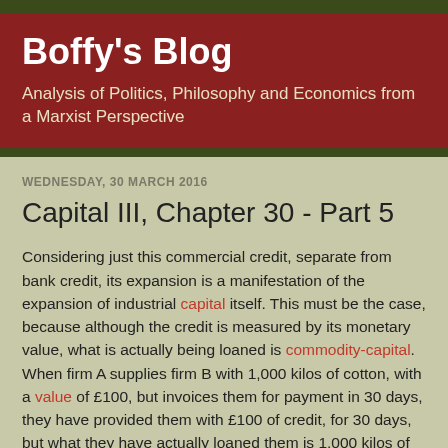Boffy's Blog
Analysis of Politics, Philosophy and Economics from a Marxist Perspective
WEDNESDAY, 30 MARCH 2016
Capital III, Chapter 30 - Part 5
Considering just this commercial credit, separate from bank credit, its expansion is a manifestation of the expansion of industrial capital itself. This must be the case, because although the credit is measured by its monetary value, what is actually being loaned is commodity-capital. When firm A supplies firm B with 1,000 kilos of cotton, with a value of £100, but invoices them for payment in 30 days, they have provided them with £100 of credit, for 30 days, but what they have actually loaned them is 1,000 kilos of cotton.